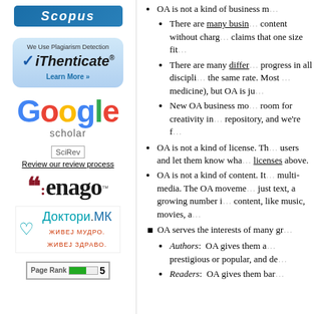[Figure (logo): Scopus logo in blue on rounded rectangle]
[Figure (logo): iThenticate plagiarism detection badge with blue gradient background]
[Figure (logo): Google Scholar logo with colorful letters]
[Figure (logo): SciRev logo with link 'Review our review process']
[Figure (logo): Enago editing service logo]
[Figure (logo): Doktori.mk logo with heart icon and Cyrillic text]
[Figure (other): Page Rank 5 indicator bar]
OA is not a kind of business m...
There are many busin... content without charge... claims that one size fi...
There are many differ... progress in all discipli... the same rate. Most ... medicine), but OA is ju...
New OA business mo... room for creativity in... repository, and we're f...
OA is not a kind of license. Th... users and let them know wha... licenses above.
OA is not a kind of content. It... multi-media. The OA moveme... just text, a growing number i... content, like music, movies, a...
OA serves the interests of many gr...
Authors: OA gives them a... prestigious or popular, and de...
Readers: OA gives them bar...